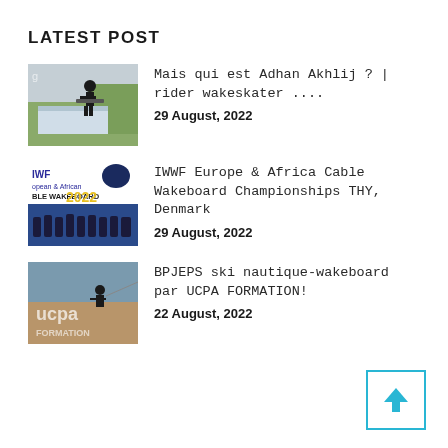LATEST POST
[Figure (photo): Person performing a wakeskate trick in the air near a structure with vegetation in background]
Mais qui est Adhan Akhlij ? | rider wakeskater ....
29 August, 2022
[Figure (photo): IWWF European & African Cable Wakeboard Championships 2022 logo with group photo below]
IWWF Europe & Africa Cable Wakeboard Championships THY, Denmark
29 August, 2022
[Figure (photo): UCPA FORMATION wakeboard/ski nautique photo with water action]
BPJEPS ski nautique-wakeboard par UCPA FORMATION!
22 August, 2022